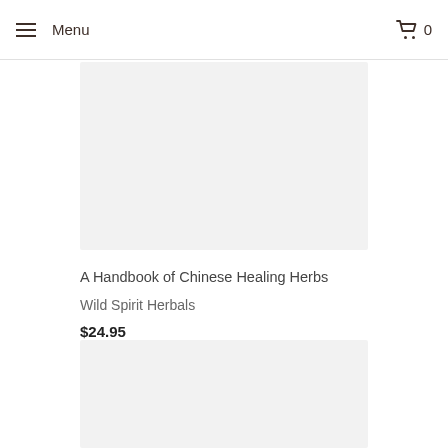Menu  0
[Figure (photo): Product image placeholder for A Handbook of Chinese Healing Herbs — light gray rectangle]
A Handbook of Chinese Healing Herbs
Wild Spirit Herbals
$24.95
[Figure (photo): Second product image placeholder — light gray rectangle]